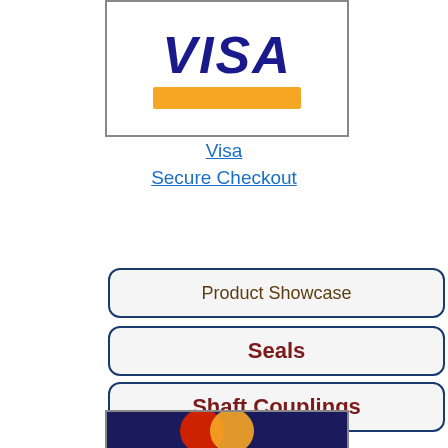[Figure (logo): Visa logo with blue italic bold text and orange bar below, inside a bordered white box]
Visa
Secure Checkout
Product Showcase
Seals
Shaft Couplings
Shafting
Shipping Rates and Times
Springs and Retraction
Storage
Technical
[Figure (logo): Mastercard logo with overlapping red and orange circles on dark blue background]